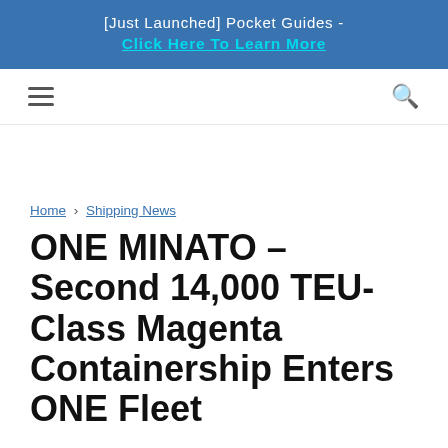[Just Launched] Pocket Guides - Click Here To Learn More
[Figure (other): Navigation bar with hamburger menu icon on left and search icon on right]
Home › Shipping News
ONE MINATO – Second 14,000 TEU-Class Magenta Containership Enters ONE Fleet